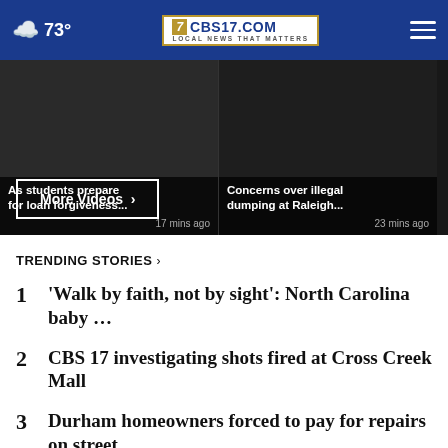73° CBS17.COM LOCAL NEWS THAT MATTERS
[Figure (screenshot): Video thumbnail strip showing news headlines: 'As students prepare for loan forgiveness... 17 mins ago', 'Concerns over illegal dumping at Raleigh... 23 mins ago', partial third card]
More Videos ›
TRENDING STORIES ›
1 'Walk by faith, not by sight': North Carolina baby …
2 CBS 17 investigating shots fired at Cross Creek Mall
3 Durham homeowners forced to pay for repairs on street …